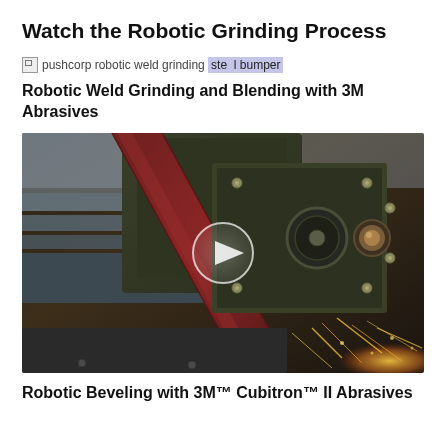Watch the Robotic Grinding Process
[Figure (other): Broken image placeholder with alt text: pushcorp robotic weld grinding steel bumper]
Robotic Weld Grinding and Blending with 3M Abrasives
[Figure (photo): Video thumbnail showing a robotic grinding belt sander pressing against metal with sparks flying, with a circular play button overlay in the center]
Robotic Beveling with 3M™ Cubitron™ II Abrasives